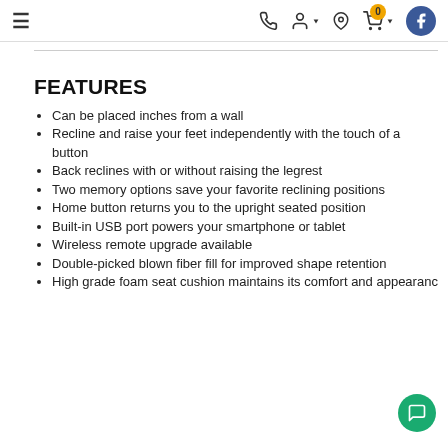Navigation bar with hamburger menu, phone, user, location, cart (0), and Facebook icons
FEATURES
Can be placed inches from a wall
Recline and raise your feet independently with the touch of a button
Back reclines with or without raising the legrest
Two memory options save your favorite reclining positions
Home button returns you to the upright seated position
Built-in USB port powers your smartphone or tablet
Wireless remote upgrade available
Double-picked blown fiber fill for improved shape retention
High grade foam seat cushion maintains its comfort and appearanc